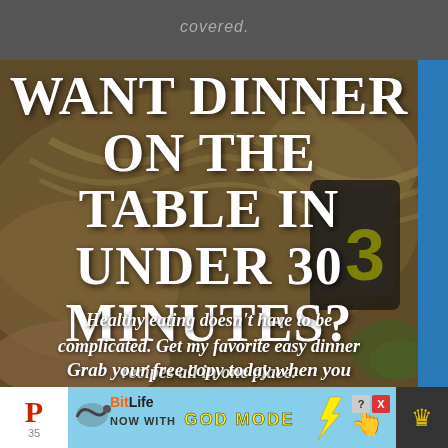covered.
[Figure (photo): Background food photo showing pasta, vegetables, and a tablet device on a cutting board, with overlaid promotional text about quick dinner recipes]
WANT DINNER ON THE TABLE IN UNDER 30 MINUTES?
Healthy eating doesn't have to be complicated. Get my favorite easy dinner recipes all in one place.
Grab your free copy today when you
[Figure (infographic): Bottom advertisement bar for BitLife game with Pinterest icon (35), BitLife logo, 'NOW WITH GOD MODE' text in yellow, lightning bolt graphic, hand pointing graphic, question mark and X close buttons, and crown icon]